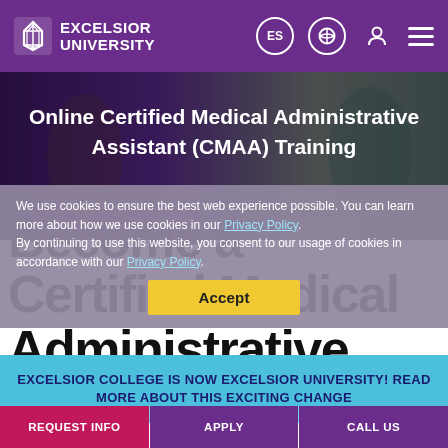EXCELSIOR UNIVERSITY
[Figure (photo): Hero image of medical administrative assistants in an office setting with overlay text 'Online Certified Medical Administrative Assistant (CMAA) Training']
Online Certified Medical Administrative Assistant (CMAA) Training
We use cookies to ensure the best web experience possible. You can learn more about how we use cookies in our Privacy Policy. By continuing to use this website, you consent to our usage of cookies in accordance with our Privacy Policy.
Accept
Become a Certified Medical Administrative Assistant
EXCELSIOR COLLEGE IS NOW EXCELSIOR UNIVERSITY! READ MORE ABOUT THIS EXCITING CHANGE
REQUEST INFO | APPLY | CALL US